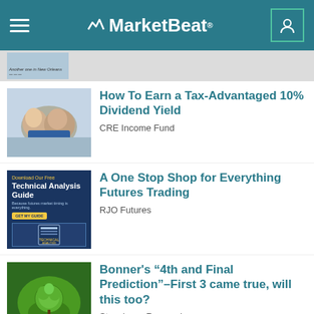MarketBeat
[Figure (screenshot): Partial image of previous article, showing map with text 'Another one in New Orleans']
[Figure (photo): Photo of older couple smiling]
How To Earn a Tax-Advantaged 10% Dividend Yield
CRE Income Fund
[Figure (illustration): Ad image: Technical Analysis Guide download, blue background with book cover]
A One Stop Shop for Everything Futures Trading
RJO Futures
[Figure (photo): Nature photo: green tree inside glass globe on golden ground]
Bonner’s “4th and Final Prediction”–First 3 came true, will this too?
Stansberry Research
[Figure (photo): Partial photo, blue tones, bottom of page]
WARNING: Your